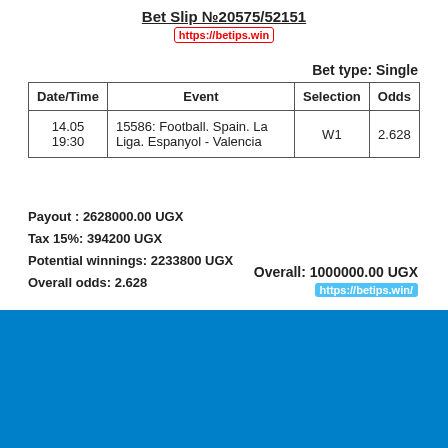Bet Slip №20575/52151
https://betips.win
Bet type: Single
| Date/Time | Event | Selection | Odds |
| --- | --- | --- | --- |
| 14.05
19:30 | 15586: Football. Spain. La Liga. Espanyol - Valencia | W1 | 2.628 |
Payout : 2628000.00 UGX
Tax 15%: 394200 UGX
Potential winnings: 2233800 UGX
Overall odds: 2.628
Overall: 1000000.00 UGX
https://betips.win/